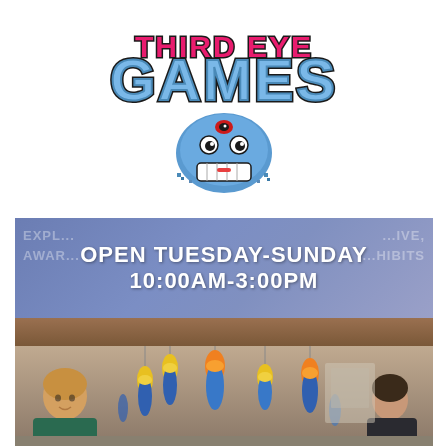[Figure (logo): Third Eye Games logo featuring stylized pixel-art text 'THIRD EYE GAMES' with a blue cartoon monster/shark face character with a third eye, rendered in a retro video game style with pink/red and blue lettering]
[Figure (photo): Museum or science center interior photo with a banner overlay reading 'OPEN TUESDAY-SUNDAY 10:00AM-3:00PM' on a purple/blue background. The photo shows hanging bottle sculptures (yellow and blue bottles) suspended from the ceiling, with two people visible — a woman with blonde hair on the left wearing a teal top, and another person on the right. Faint background text reads 'EXPLORE... INTERACTIVE, AWARD... EXHIBITS'.]